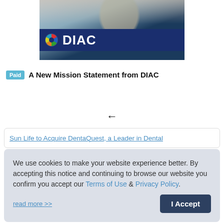[Figure (photo): Photo of a woman speaking at an event, with a DIAC branded banner visible in the foreground showing the DIAC logo and name on a dark navy background.]
Paid  A New Mission Statement from DIAC
← (back arrow navigation)
Sun Life to Acquire DentaQuest, a Leader in Dental
We use cookies to make your website experience better. By accepting this notice and continuing to browse our website you confirm you accept our Terms of Use & Privacy Policy.

read more >>

I Accept